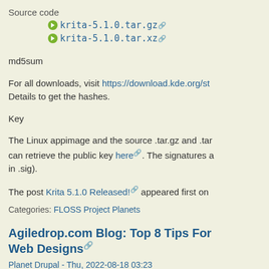Source code
krita-5.1.0.tar.gz
krita-5.1.0.tar.xz
md5sum
For all downloads, visit https://download.kde.org/st... Details to get the hashes.
Key
The Linux appimage and the source .tar.gz and .tar... can retrieve the public key here. The signatures a... in .sig).
The post Krita 5.1.0 Released! appeared first on
Categories: FLOSS Project Planets
Agiledrop.com Blog: Top 8 Tips For Web Designs
Planet Drupal - Thu, 2022-08-18 03:23
🔗🔗